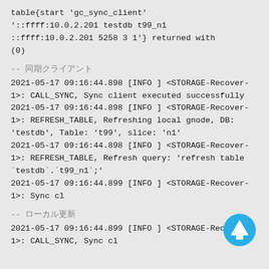table{start 'gc_sync_client' '::ffff:10.0.2.201 testdb t99_n1 ::ffff:10.0.2.201 5258 3 1'} returned with (0)
-- 同期クライアント
2021-05-17 09:16:44.898 [INFO ] <STORAGE-Recover-1>: CALL_SYNC, Sync client executed successfully
2021-05-17 09:16:44.898 [INFO ] <STORAGE-Recover-1>: REFRESH_TABLE, Refreshing local gnode, DB: 'testdb', Table: 't99', slice: 'n1'
2021-05-17 09:16:44.898 [INFO ] <STORAGE-Recover-1>: REFRESH_TABLE, Refresh query: 'refresh table `testdb`.`t99_n1`;'
2021-05-17 09:16:44.899 [INFO ] <STORAGE-Recover-1>: Sync cl
-- ローカル更新
2021-05-17 09:16:44.899 [INFO ] <STORAGE-Recover-1>: CALL_SYNC, Sync client executed successfully
[Figure (illustration): Blue circular button with white upward arrow icon]